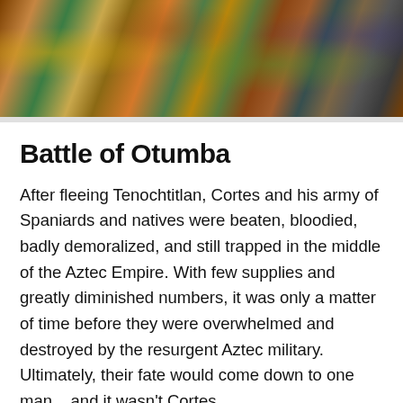[Figure (illustration): A colorful historical illustration depicting a battle scene, showing warriors in elaborate Aztec costumes and headdresses engaged in combat. The image shows vibrant colors including gold, green, brown, and blue with figures fighting dynamically across the composition.]
Battle of Otumba
After fleeing Tenochtitlan, Cortes and his army of Spaniards and natives were beaten, bloodied, badly demoralized, and still trapped in the middle of the Aztec Empire. With few supplies and greatly diminished numbers, it was only a matter of time before they were overwhelmed and destroyed by the resurgent Aztec military. Ultimately, their fate would come down to one man... and it wasn't Cortes.